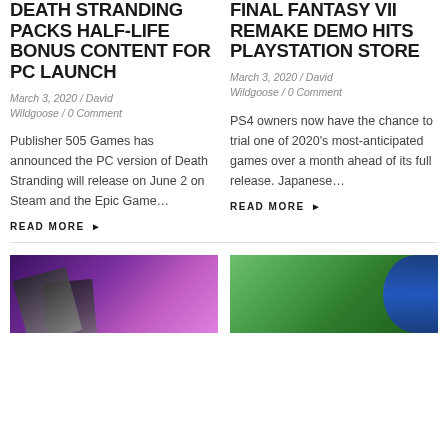DEATH STRANDING PACKS HALF-LIFE BONUS CONTENT FOR PC LAUNCH
March 3, 2020 / David Wildgoose / 0 Comment
Publisher 505 Games has announced the PC version of Death Stranding will release on June 2 on Steam and the Epic Game…
READ MORE ▶
FINAL FANTASY VII REMAKE DEMO HITS PLAYSTATION STORE
March 3, 2020 / David Wildgoose / 0 Comment
PS4 owners now have the chance to trial one of 2020's most-anticipated games over a month ahead of its full release. Japanese…
READ MORE ▶
[Figure (photo): Purple gradient background with playing cards scattered]
[Figure (photo): Green landscape with blue Sonic the Hedgehog character]